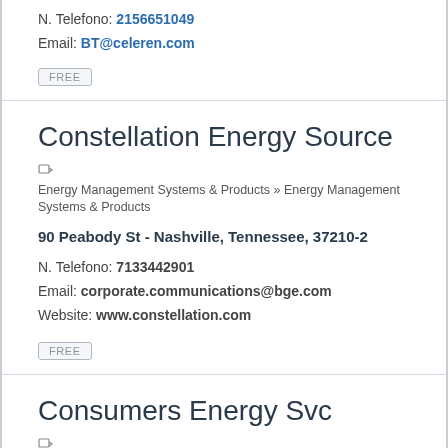N. Telefono: 2156651049
Email: BT@celeren.com
FREE
Constellation Energy Source
Energy Management Systems & Products » Energy Management Systems & Products
90 Peabody St - Nashville, Tennessee, 37210-2
N. Telefono: 7133442901
Email: corporate.communications@bgе.com
Website: www.constellation.com
FREE
Consumers Energy Svc
Energy Management Systems & Products » Energy Management Systems & Products
5035 Progress Dr - Ludington, Michigan, 49431-9